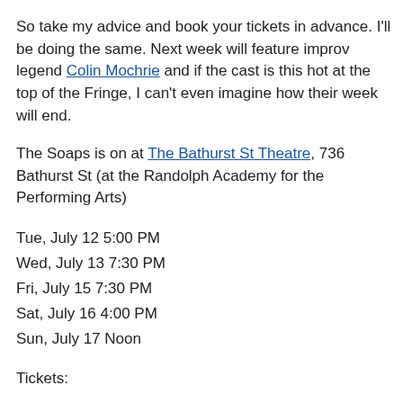So take my advice and book your tickets in advance. I'll be doing the same. Next week will feature improv legend Colin Mochrie and if the cast is this hot at the top of the Fringe, I can't even imagine how their week will end.
The Soaps is on at The Bathurst St Theatre, 736 Bathurst St (at the Randolph Academy for the Performing Arts)
Tue, July 12 5:00 PM
Wed, July 13 7:30 PM
Fri, July 15 7:30 PM
Sat, July 16 4:00 PM
Sun, July 17 Noon
Tickets:
– All individual Fringe tickets are $10 ($5 for FringeKids) at the door (cash only).
– Tickets are available online at www.fringetoronto.com, by